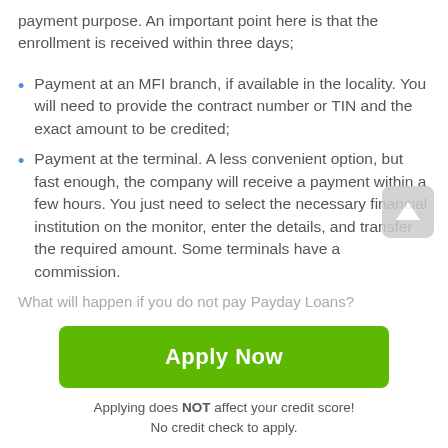payment purpose. An important point here is that the enrollment is received within three days;
Payment at an MFI branch, if available in the locality. You will need to provide the contract number or TIN and the exact amount to be credited;
Payment at the terminal. A less convenient option, but fast enough, the company will receive a payment within a few hours. You just need to select the necessary financial institution on the monitor, enter the details, and transfer the required amount. Some terminals have a commission.
What will happen if you do not pay Payday Loans?
Apply Now
Applying does NOT affect your credit score!
No credit check to apply.